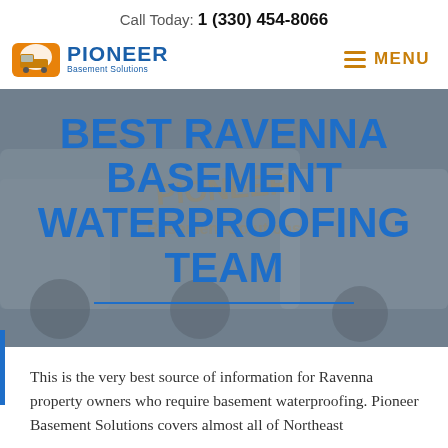Call Today: 1 (330) 454-8066
[Figure (logo): Pioneer Basement Solutions logo with orange house/truck icon and blue text]
MENU
[Figure (photo): Background photo of Pioneer Basement Solutions truck, gray toned]
BEST RAVENNA BASEMENT WATERPROOFING TEAM
This is the very best source of information for Ravenna property owners who require basement waterproofing. Pioneer Basement Solutions covers almost all of Northeast